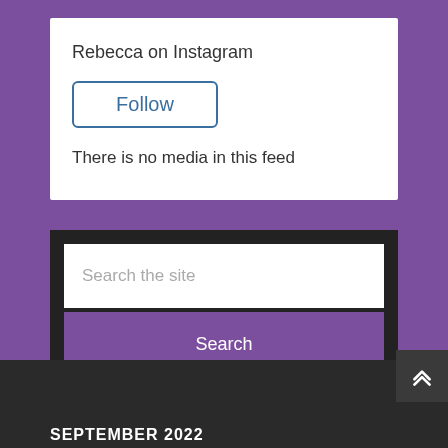Rebecca on Instagram
Follow
There is no media in this feed
Search the site
Search
SEPTEMBER 2022